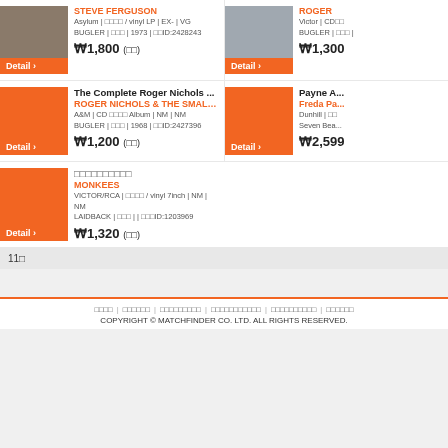STEVE FERGUSON | Asylum | vinyl LP | EX- | VG | BUGLER | 1973 | ID:2428243 | ￦1,800
ROGER | Victor | CD | BUGLER | ￦1,300
The Complete Roger Nichols ... | ROGER NICHOLS & THE SMALL C... | A&M | CD Album | NM | NM | BUGLER | 1968 | ID:2427396 | ￦1,200
Payne A... | Freda Pa... | Dunhill | Seven Bea... | ￦2,599
□□□□□□□□□□ | MONKEES | VICTOR/RCA | vinyl 7inch | NM | NM | LAIDBACK | | ID:1203969 | ￦1,320
11□
□□□□ | □□□□□□ | □□□□□□□□□ | □□□□□□□□□□□ | □□□□□□□□□□ | □□□□□□
COPYRIGHT © MATCHFINDER CO. LTD. ALL RIGHTS RESERVED.